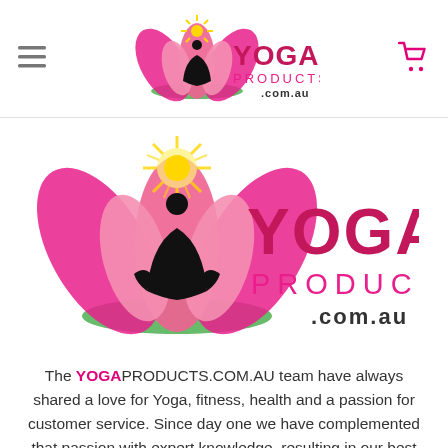Yoga Products .com.au — navigation header with hamburger menu, logo, and cart icon
[Figure (logo): Yoga Products .com.au logo with lotus flower, meditating silhouette, yellow sun rays, and pink/magenta text reading YOGA PRODUCTS .com.au]
The YOGAPRODUCTS.COM.AU team have always shared a love for Yoga, fitness, health and a passion for customer service. Since day one we have complemented that passion with expert knowledge, resulting in our best range yet of high quality Yoga products.
READ MORE >